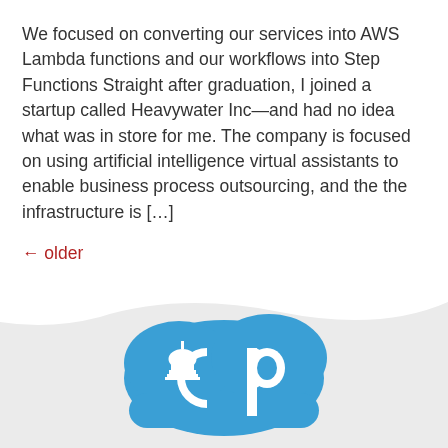We focused on converting our services into AWS Lambda functions and our workflows into Step Functions Straight after graduation, I joined a startup called Heavywater Inc—and had no idea what was in store for me. The company is focused on using artificial intelligence virtual assistants to enable business process outsourcing, and the the infrastructure is […]
← older
[Figure (logo): A blue cloud logo with the letters 'cp' and a Capitol building dome icon inside, representing a cloud platform brand]